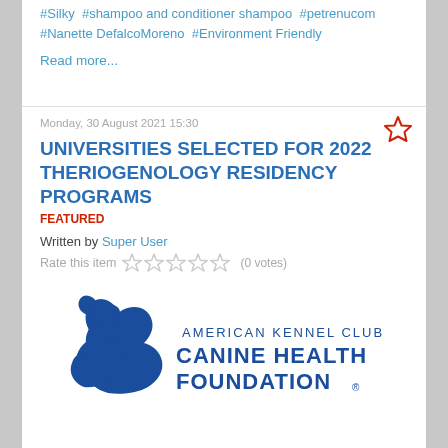#Silky  #shampoo and conditioner shampoo  #petrenucom
#Nanette DefalcoMoreno  #Environment Friendly
Read more...
Monday, 30 August 2021 15:30
UNIVERSITIES SELECTED FOR 2022 THERIOGENOLOGY RESIDENCY PROGRAMS
FEATURED
Written by Super User
Rate this item (0 votes)
[Figure (logo): American Kennel Club Canine Health Foundation logo — blue dog silhouette with text AMERICAN KENNEL CLUB CANINE HEALTH FOUNDATION®]